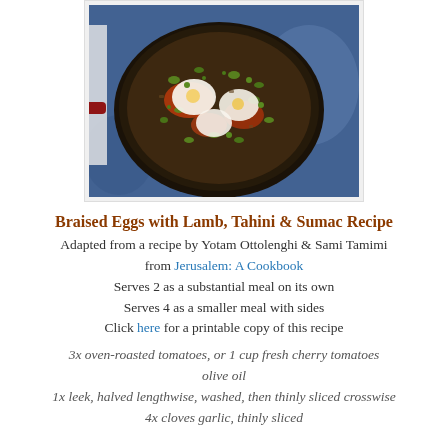[Figure (photo): A cast iron skillet with braised eggs, ground lamb, green herbs (edamame or broad beans), red tomato sauce, and white tahini/yogurt dollops, photographed from above on a blue patterned background.]
Braised Eggs with Lamb, Tahini & Sumac Recipe
Adapted from a recipe by Yotam Ottolenghi & Sami Tamimi from Jerusalem: A Cookbook
Serves 2 as a substantial meal on its own
Serves 4 as a smaller meal with sides
Click here for a printable copy of this recipe
3x oven-roasted tomatoes, or 1 cup fresh cherry tomatoes
olive oil
1x leek, halved lengthwise, washed, then thinly sliced crosswise
4x cloves garlic, thinly sliced